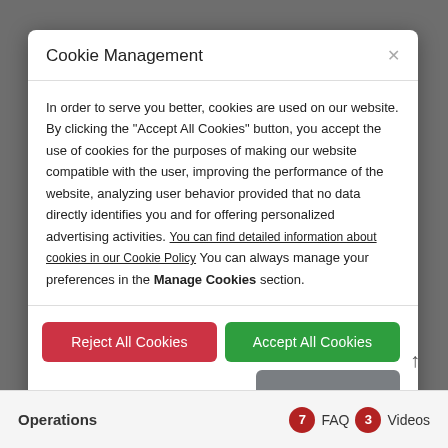Cookie Management
In order to serve you better, cookies are used on our website. By clicking the "Accept All Cookies" button, you accept the use of cookies for the purposes of making our website compatible with the user, improving the performance of the website, analyzing user behavior provided that no data directly identifies you and for offering personalized advertising activities. You can find detailed information about cookies in our Cookie Policy You can always manage your preferences in the Manage Cookies section.
Reject All Cookies
Accept All Cookies
Manage Cookies
Operations
7 FAQ 3 Videos